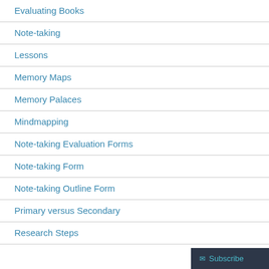Evaluating Books
Note-taking
Lessons
Memory Maps
Memory Palaces
Mindmapping
Note-taking Evaluation Forms
Note-taking Form
Note-taking Outline Form
Primary versus Secondary
Research Steps